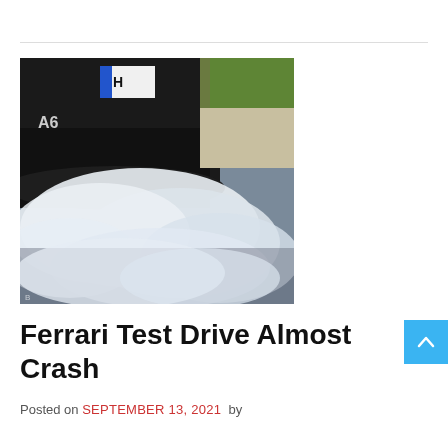[Figure (photo): Close-up photo of the rear of a dark-colored Audi A6 car with white smoke/exhaust billowing out from underneath, on a road surface. A license plate is partially visible.]
Ferrari Test Drive Almost Crash
Posted on SEPTEMBER 13, 2021 by